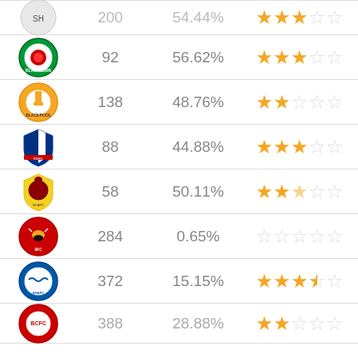| Club | Count | Percentage | Rating |
| --- | --- | --- | --- |
| [club logo - partial] | 200 | 54.44% | ★★★☆☆ |
| Blackburn Rovers | 92 | 56.62% | ★★★☆☆ |
| Blackpool | 138 | 48.76% | ★★☆☆☆ |
| Bolton Wanderers | 88 | 44.88% | ★★★☆☆ |
| Bradford City | 58 | 50.11% | ★★☆☆☆ |
| Brentford | 284 | 0.65% | ☆☆☆☆☆ |
| Brighton & Hove Albion | 372 | 15.15% | ★★★½☆ |
| Bristol City (partial) | 388 | 28.88% | ★★★☆☆ |